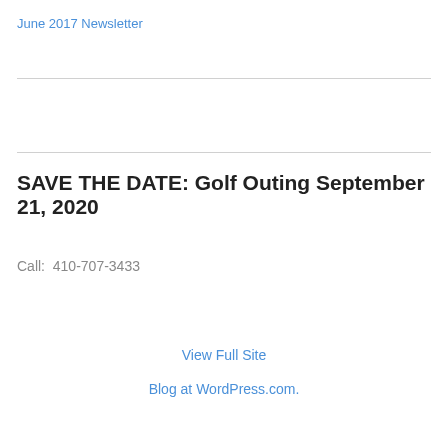June 2017 Newsletter
SAVE THE DATE: Golf Outing September 21, 2020
Call:  410-707-3433
View Full Site
Blog at WordPress.com.